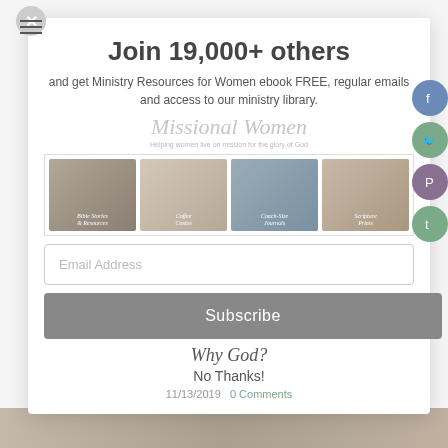[Figure (screenshot): Hamburger menu icon (three horizontal lines) in top left corner]
Join 19,000+ others
and get Ministry Resources for Women ebook FREE, regular emails and access to our ministry library.
[Figure (illustration): Missional Women brand watermark text with tagline 'Helping women live on mission for the glory of God']
[Figure (illustration): Four thumbnail images: Bible Stories & Resources, Coffee Cozies, Coach-Size Journals, Scripture Prints]
Email Address
Subscribe
Why God?
No Thanks!
11/13/2019  0 Comments
[Figure (illustration): Social media sidebar buttons: Facebook, Twitter, Pinterest, Tumblr]
[Figure (photo): Bottom image strip - partial photo visible at page bottom]